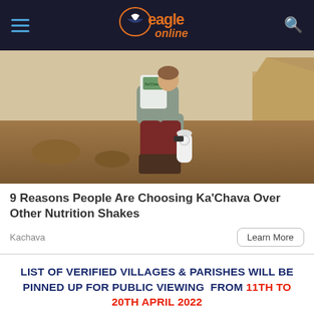Eagle Online
[Figure (photo): Person crouching outdoors in rocky desert terrain, holding a bag of Ka'Chava nutrition shake powder and a white container]
9 Reasons People Are Choosing Ka'Chava Over Other Nutrition Shakes
Kachava
Learn More
LIST OF VERIFIED VILLAGES & PARISHES WILL BE PINNED UP FOR PUBLIC VIEWING FROM 11th to 20th April 2022
[Figure (photo): Partial image of a triangular tent or structure with Uganda coat of arms]